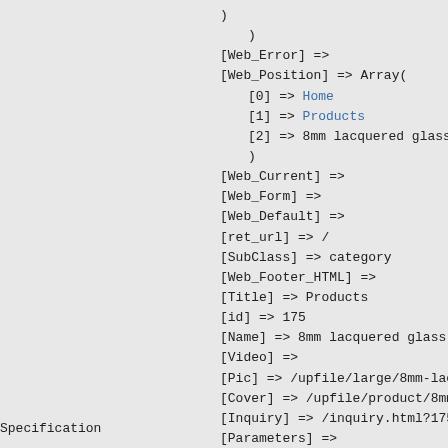)
)
[Web_Error] =>
[Web_Position] => Array(
    [0] => Home
    [1] => Products
    [2] => 8mm lacquered glass, customize...
    )
[Web_Current] =>
[Web_Form] =>
[Web_Default] =>
[ret_url] => /
[SubClass] => category
[Web_Footer_HTML] =>
[Title] => Products
[id] => 175
[Name] => 8mm lacquered glass, customized design
[Video] =>
[Pic] => /upfile/large/8mm-lacquered-glass-custo
[Cover] => /upfile/product/8mm-lacquered-glass-c
[Inquiry] => /inquiry.html?175
[Parameters] =>
Specification